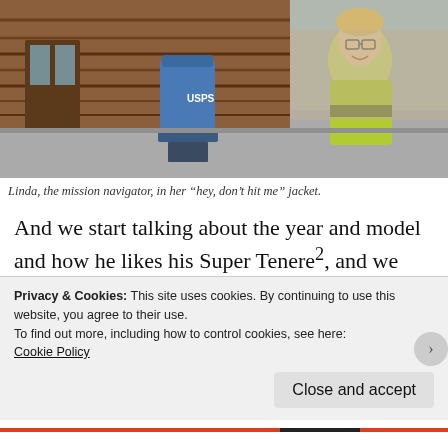[Figure (photo): Woman in bright yellow-green high-visibility motorcycle jacket standing in front of a log cabin building with a blue USPS mailbox.]
Linda, the mission navigator, in her “hey, don’t hit me” jacket.
And we start talking about the year and model and how he likes his Super Tenere², and we rabbit on about Yamahas and BMW shaft-drive problems and Adventure Rider.com and as he’s pulling away I realize we’ve been talking for 3 or 4 minutes without
Privacy & Cookies: This site uses cookies. By continuing to use this website, you agree to their use.
To find out more, including how to control cookies, see here:
Cookie Policy
Close and accept